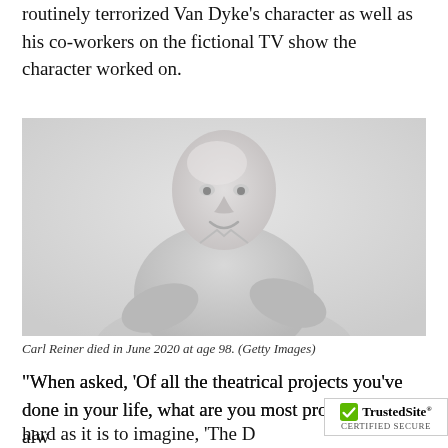routinely terrorized Van Dyke’s character as well as his co-workers on the fictional TV show the character worked on.
[Figure (photo): Black and white/faded photo of Carl Reiner, an elderly bald man smiling, seated, wearing a jacket]
Carl Reiner died in June 2020 at age 98. (Getty Images)
“When asked, ‘Of all the theatrical projects you’ve done in your life, what are you most proud of?’ I alw[ays said ‘The D[ick Van Dyke Show’]